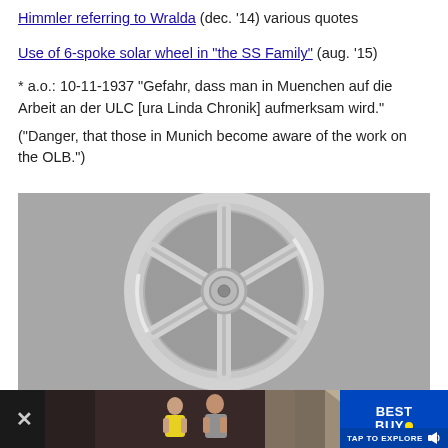Himmler referring to Wralda (dec. '14) various quotes
Use of 6-spoke solar wheel in "the SS Family" (aug. '15)
* a.o.: 10-11-1937 "Gefahr, dass man in Muenchen auf die Arbeit an der ULC [ura Linda Chronik] aufmerksam wird."
("Danger, that those in Munich become aware of the work on the OLB.")
[Figure (photo): A 6-spoke solar wheel artifact/medallion photographed on a grey fabric background. The wheel is metallic/silver colored with six spokes radiating from a central hub to a circular rim.]
[Figure (photo): A Best Buy advertisement banner showing a video thumbnail with people, and a Best Buy logo with 'TAP TO EXPLORE' text.]